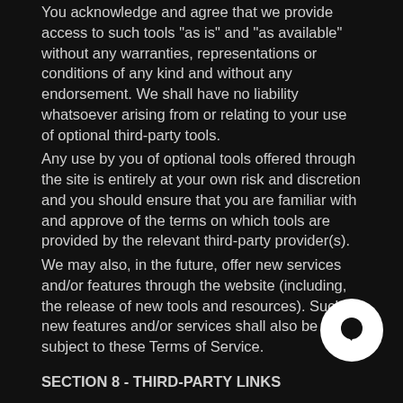You acknowledge and agree that we provide access to such tools "as is" and "as available" without any warranties, representations or conditions of any kind and without any endorsement. We shall have no liability whatsoever arising from or relating to your use of optional third-party tools.
Any use by you of optional tools offered through the site is entirely at your own risk and discretion and you should ensure that you are familiar with and approve of the terms on which tools are provided by the relevant third-party provider(s).
We may also, in the future, offer new services and/or features through the website (including, the release of new tools and resources). Such new features and/or services shall also be subject to these Terms of Service.
SECTION 8 - THIRD-PARTY LINKS
Certain content, products and services available via our Service may include materials from third-parties.
Third-party links on this site may direct you to third-party websites that are not affiliated with us. We are not responsible for examining or evaluating the content or accuracy and we do not